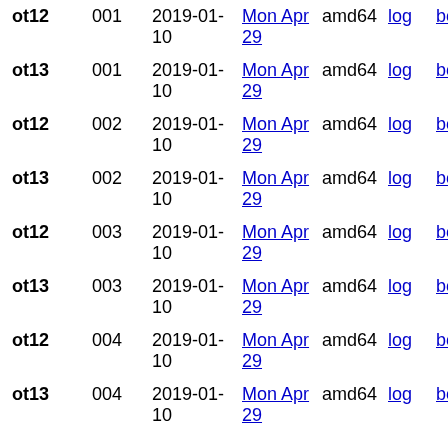| ot12 | 001 | 2019-01-10 | Mon Apr 29 | amd64 | log | boot |
| ot13 | 001 | 2019-01-10 | Mon Apr 29 | amd64 | log | boot |
| ot12 | 002 | 2019-01-10 | Mon Apr 29 | amd64 | log | boot |
| ot13 | 002 | 2019-01-10 | Mon Apr 29 | amd64 | log | boot |
| ot12 | 003 | 2019-01-10 | Mon Apr 29 | amd64 | log | boot |
| ot13 | 003 | 2019-01-10 | Mon Apr 29 | amd64 | log | boot |
| ot12 | 004 | 2019-01-10 | Mon Apr 29 | amd64 | log | boot |
| ot13 | 004 | 2019-01-10 | Mon Apr 29 | amd64 | log | boot |